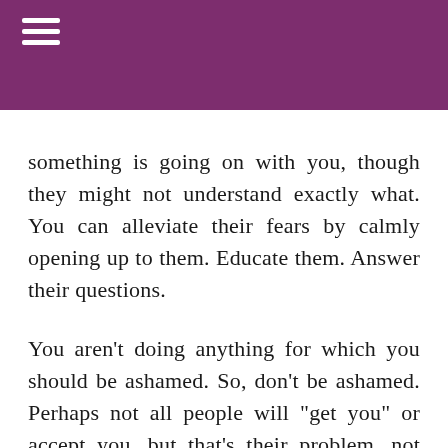≡
...gy p...p y something is going on with you, though they might not understand exactly what. You can alleviate their fears by calmly opening up to them. Educate them. Answer their questions.
You aren't doing anything for which you should be ashamed. So, don't be ashamed. Perhaps not all people will "get you" or accept you, but that's their problem, not yours. And you might be very surprised by how many people do accept you once you open up to them.